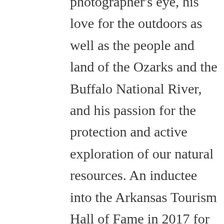photographer's eye, his love for the outdoors as well as the people and land of the Ozarks and the Buffalo National River, and his passion for the protection and active exploration of our natural resources. An inductee into the Arkansas Tourism Hall of Fame in 2017 for his conservation efforts, Smith offers a three-part guide to the river, complete with maps, diagrams and photographs: insights on geology, wildlife, plants,